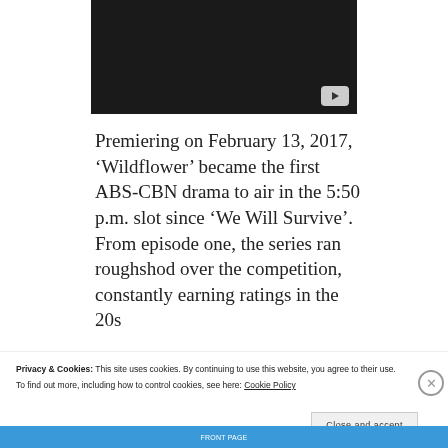[Figure (screenshot): Dark video player thumbnail with YouTube play button in bottom-right corner]
Premiering on February 13, 2017, ‘Wildflower’ became the first ABS-CBN drama to air in the 5:50 p.m. slot since ‘We Will Survive’. From episode one, the series ran roughshod over the competition, constantly earning ratings in the 20s
Privacy & Cookies: This site uses cookies. By continuing to use this website, you agree to their use.
To find out more, including how to control cookies, see here: Cookie Policy
Close and accept